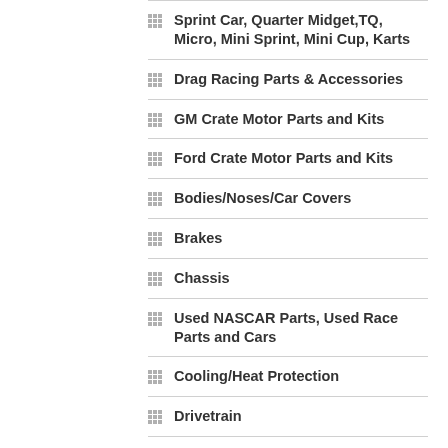Sprint Car, Quarter Midget,TQ, Micro, Mini Sprint, Mini Cup, Karts
Drag Racing Parts & Accessories
GM Crate Motor Parts and Kits
Ford Crate Motor Parts and Kits
Bodies/Noses/Car Covers
Brakes
Chassis
Used NASCAR Parts, Used Race Parts and Cars
Cooling/Heat Protection
Drivetrain
Electrical